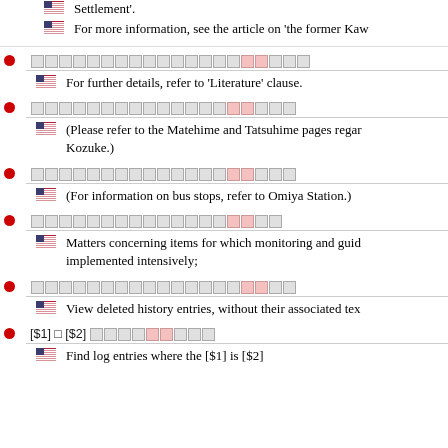Settlement'.
For more information, see the article on 'the former Kaw
[Japanese text] For further details, refer to 'Literature' clause.
[Japanese text] (Please refer to the Matehime and Tatsuhime pages regarding Kozuke.)
[Japanese text] (For information on bus stops, refer to Omiya Station.)
[Japanese text] Matters concerning items for which monitoring and guidance implemented intensively;
[Japanese text] View deleted history entries, without their associated tex
[$1] □ [$2] [Japanese text] Find log entries where the [$1] is [$2]